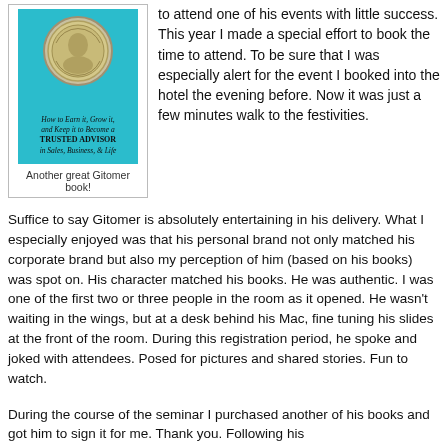[Figure (illustration): Book cover of a Gitomer book on teal/cyan background with a coin image and subtitle 'How to Earn it, Grow it, and Keep it to Become a TRUSTED ADVISOR in Sales, Business, & Life']
Another great Gitomer book!
to attend one of his events with little success. This year I made a special effort to book the time to attend. To be sure that I was especially alert for the event I booked into the hotel the evening before. Now it was just a few minutes walk to the festivities.
Suffice to say Gitomer is absolutely entertaining in his delivery. What I especially enjoyed was that his personal brand not only matched his corporate brand but also my perception of him (based on his books) was spot on. His character matched his books. He was authentic. I was one of the first two or three people in the room as it opened. He wasn't waiting in the wings, but at a desk behind his Mac, fine tuning his slides at the front of the room. During this registration period, he spoke and joked with attendees. Posed for pictures and shared stories. Fun to watch.
During the course of the seminar I purchased another of his books and got him to sign it for me. Thank you. Following his